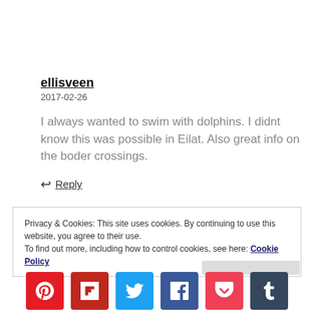ellisveen
2017-02-26
I always wanted to swim with dolphins. I didnt know this was possible in Eilat. Also great info on the boder crossings.
↩ Reply
Privacy & Cookies: This site uses cookies. By continuing to use this website, you agree to their use.
To find out more, including how to control cookies, see here: Cookie Policy
[Figure (infographic): Social sharing buttons row: Pinterest (red), Flipboard (dark red), Twitter (blue), Facebook (dark blue), Pocket (pink-red), Tumblr (dark grey)]